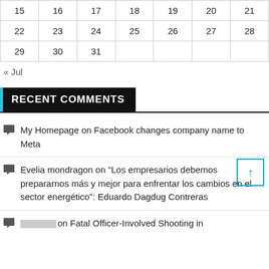| 15 | 16 | 17 | 18 | 19 | 20 | 21 |
| 22 | 23 | 24 | 25 | 26 | 27 | 28 |
| 29 | 30 | 31 |  |  |  |  |
« Jul
RECENT COMMENTS
My Homepage on Facebook changes company name to Meta
Evelia mondragon on “Los empresarios debemos prepararnos más y mejor para enfrentar los cambios en el sector energético”: Eduardo Dagdug Contreras
�����on Fatal Officer-Involved Shooting in